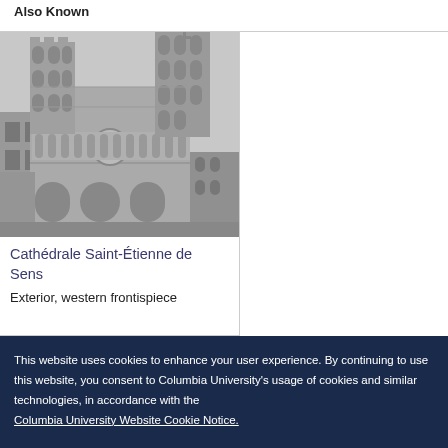Also Known
[Figure (photo): Black and white photograph of the exterior western frontispiece of Cathédrale Saint-Étienne de Sens, a Gothic cathedral with elaborate stone facade, towers, arches, and rose window]
Cathédrale Saint-Étienne de Sens
Exterior, western frontispiece
This website uses cookies to enhance your user experience. By continuing to use this website, you consent to Columbia University's usage of cookies and similar technologies, in accordance with the Columbia University Website Cookie Notice.